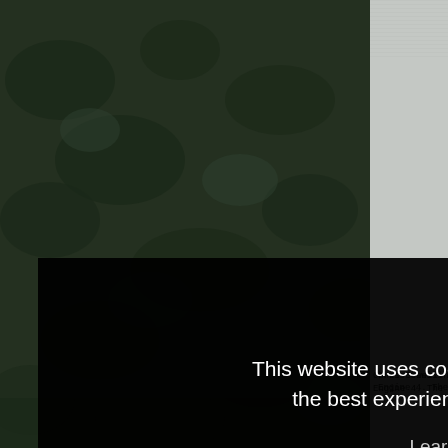[Figure (screenshot): Website screenshot showing a game page with camouflage background on the left, a light gray center panel, and a dark wet stone/coal texture on the upper right. A game HUD shows '100' and '0' in green text. Below shows partial text: 'Chris Sewell has publ... Engine 4. The MP40 has...']
Chris Sewell has publ... Engine 4. The MP40 has...
This website uses cookies to ensure you get the best experience on our website.
Learn more
Got it!